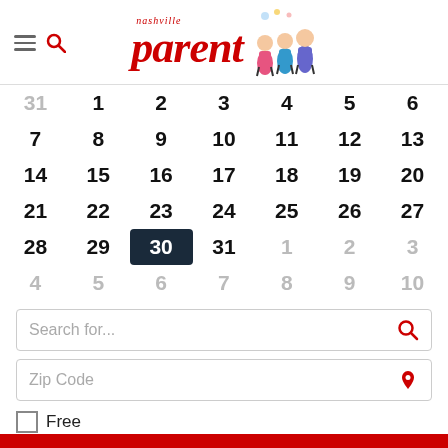Nashville Parent
| 31 | 1 | 2 | 3 | 4 | 5 | 6 |
| 7 | 8 | 9 | 10 | 11 | 12 | 13 |
| 14 | 15 | 16 | 17 | 18 | 19 | 20 |
| 21 | 22 | 23 | 24 | 25 | 26 | 27 |
| 28 | 29 | 30 | 31 | 1 | 2 | 3 |
| 4 | 5 | 6 | 7 | 8 | 9 | 10 |
Search for...
Zip Code
Free